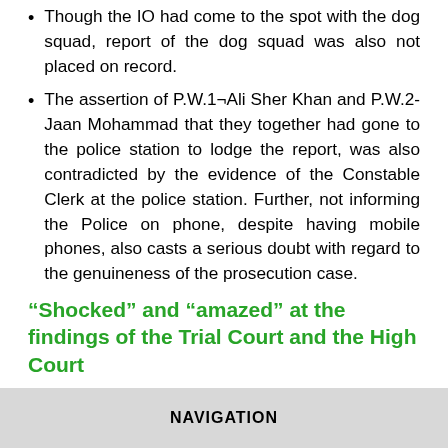Though the IO had come to the spot with the dog squad, report of the dog squad was also not placed on record.
The assertion of P.W.1¬Ali Sher Khan and P.W.2-Jaan Mohammad that they together had gone to the police station to lodge the report, was also contradicted by the evidence of the Constable Clerk at the police station. Further, not informing the Police on phone, despite having mobile phones, also casts a serious doubt with regard to the genuineness of the prosecution case.
“Shocked” and “amazed” at the findings of the Trial Court and the High Court
NAVIGATION